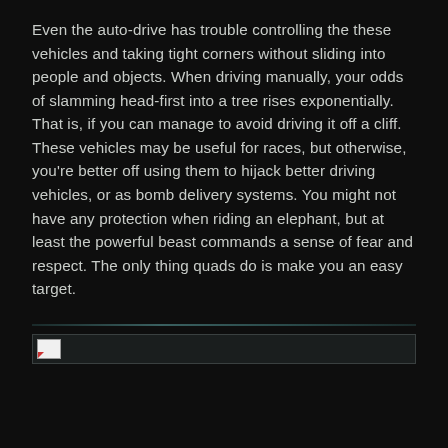Even the auto-drive has trouble controlling the these vehicles and taking tight corners without sliding into people and objects. When driving manually, your odds of slamming head-first into a tree rises exponentially. That is, if you can manage to avoid driving it off a cliff. These vehicles may be useful for races, but otherwise, you're better off using them to hijack better driving vehicles, or as bomb delivery systems. You might not have any protection when riding an elephant, but at least the powerful beast commands a sense of fear and respect. The only thing quads do is make you an easy target.
[Figure (other): A horizontal divider line with teal/blue gradient styling, followed by an image placeholder bar with a broken image icon]